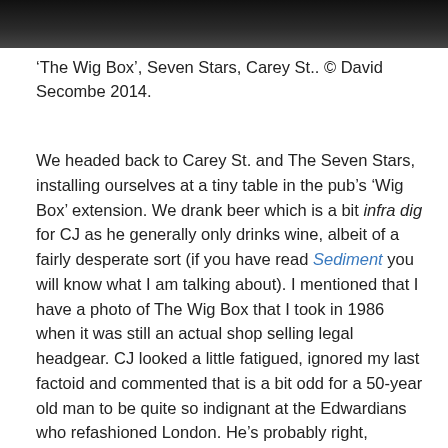[Figure (photo): Dark photograph, partially visible at the top of the page, showing an interior scene.]
‘The Wig Box’, Seven Stars, Carey St.. © David Secombe 2014.
We headed back to Carey St. and The Seven Stars, installing ourselves at a tiny table in the pub’s ‘Wig Box’ extension. We drank beer which is a bit infra dig for CJ as he generally only drinks wine, albeit of a fairly desperate sort (if you have read Sediment you will know what I am talking about). I mentioned that I have a photo of The Wig Box that I took in 1986 when it was still an actual shop selling legal headgear. CJ looked a little fatigued, ignored my last factoid and commented that is a bit odd for a 50-year old man to be quite so indignant at the Edwardians who refashioned London. He’s probably right, although I would counter that, modern Londoners are experiencing a